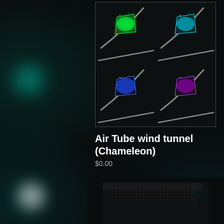[Figure (photo): A 2x2 grid of product photos showing an Air Tube wind tunnel device glowing in four different colors: green (top-left), teal/cyan (top-right), blue (bottom-left), and purple/magenta (bottom-right). Each image shows the device suspended by a curved metal tube against a dark background.]
Air Tube wind tunnel (Chameleon)
$0.00
[Figure (photo): Partial product photo of a dark/black electronic device (appears to be a console or electronics enclosure) with a mesh top panel, shown against a dark background with bokeh lighting effects.]